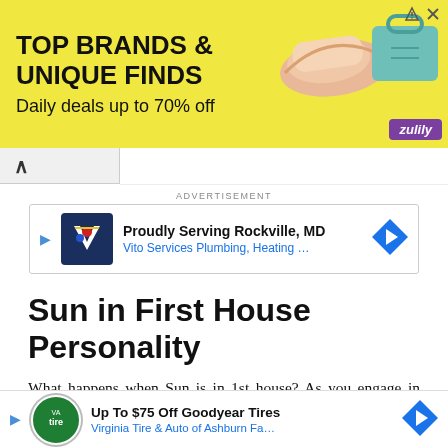[Figure (other): Zulily banner advertisement: TOP BRANDS & UNIQUE FINDS / Daily deals up to 70% off, with images of a shoe and a teal bag, yellow background with purple Zulily logo]
ADVERTISEMENT
[Figure (other): Vito Services Plumbing, Heating ad: Proudly Serving Rockville, MD / Vito Services Plumbing, Heating ...]
Sun in First House Personality
What happens when Sun is in 1st house? As you engage in your daily endeavors, it helps to separate your feeling from issues. For instance, the importance of Sun in 1st house says that you need not treat yourself too harshly because you failed to achieve an expectation.
Instea... you to find o... results and b...
[Figure (other): Virginia Tire & Auto of Ashburn Fa... advertisement overlay: Up To $75 Off Goodyear Tires]